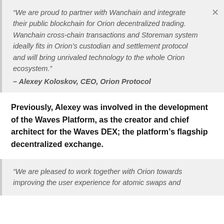“We are proud to partner with Wanchain and integrate their public blockchain for Orion decentralized trading. Wanchain cross-chain transactions and Storeman system ideally fits in Orion’s custodian and settlement protocol and will bring unrivaled technology to the whole Orion ecosystem.” – Alexey Koloskov, CEO, Orion Protocol
Previously, Alexey was involved in the development of the Waves Platform, as the creator and chief architect for the Waves DEX; the platform’s flagship decentralized exchange.
“We are pleased to work together with Orion towards improving the user experience for atomic swaps and